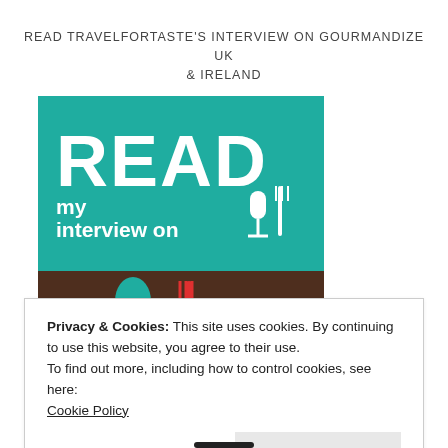READ TRAVELFORTASTE'S INTERVIEW ON GOURMANDIZE UK & IRELAND
[Figure (logo): Gourmandize UK Ireland logo with text READ my interview on Gourmandize, teal and brown square logo with microphone, fork and spoon icons, and teal spoon and red fork on brown background]
TRAVELSFORTASTE IS FEATURED ON EXPATS BLOG
Privacy & Cookies: This site uses cookies. By continuing to use this website, you agree to their use.
To find out more, including how to control cookies, see here:
Cookie Policy
Close and accept